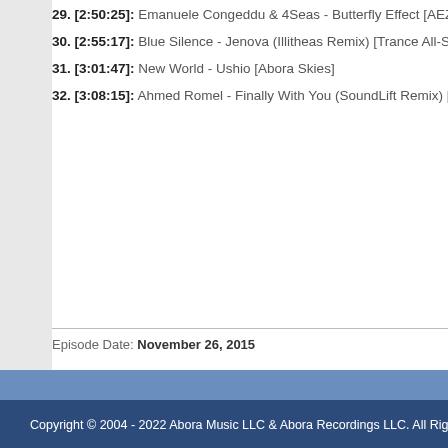29. [2:50:25]: Emanuele Congeddu & 4Seas - Butterfly Effect [AEZ]
30. [2:55:17]: Blue Silence - Jenova (Illitheas Remix) [Trance All-Stars]
31. [3:01:47]: New World - Ushio [Abora Skies]
32. [3:08:15]: Ahmed Romel - Finally With You (SoundLift Remix) [Blue Soho/CDR]
Episode Date: November 26, 2015
Copyright © 2004 - 2022 Abora Music LLC & Abora Recordings LLC. All Rights Rese...